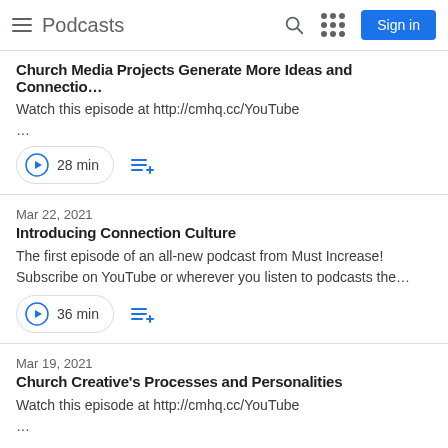Podcasts
Church Media Projects Generate More Ideas and Connectio…
Watch this episode at http://cmhq.cc/YouTube
…
28 min
Mar 22, 2021
Introducing Connection Culture
The first episode of an all-new podcast from Must Increase! Subscribe on YouTube or wherever you listen to podcasts the…
36 min
Mar 19, 2021
Church Creative's Processes and Personalities
Watch this episode at http://cmhq.cc/YouTube
…